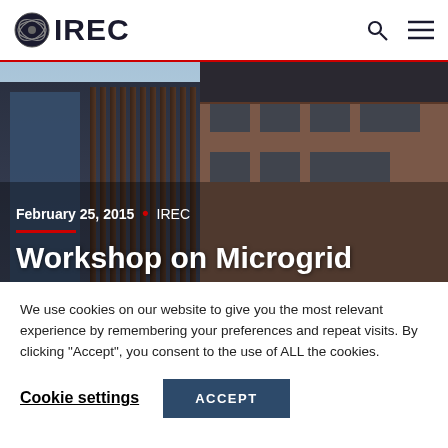IREC
[Figure (photo): Exterior photograph of a modern building with wood slat cladding, glass windows, and brick/terracotta facades against a blue sky]
February 25, 2015
• IREC
Workshop on Microgrid
We use cookies on our website to give you the most relevant experience by remembering your preferences and repeat visits. By clicking “Accept”, you consent to the use of ALL the cookies.
Cookie settings
ACCEPT